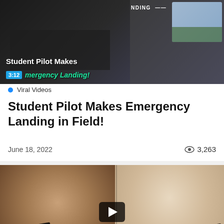[Figure (screenshot): Video thumbnail showing airplane cockpit interior with text overlay 'SCANNING FOR LANDING SPOT', title 'Student Pilot Makes Emergency Landing!' with blue badge showing '3:12' duration, and small window showing aerial view]
Viral Videos
Student Pilot Makes Emergency Landing in Field!
June 18, 2022   👁 3,263
[Figure (screenshot): Video thumbnail showing two children side by side with text overlay 'Hilarious Conversations With Kids' in green and white on black banners, with play button in center]